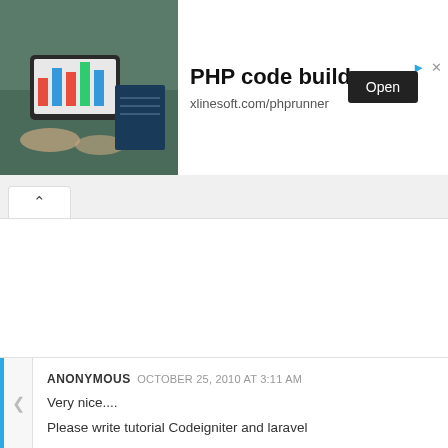[Figure (screenshot): Advertisement banner for PHP code builder by xlinesoft. Shows an image of a tablet with charts on the left, bold text 'PHP code builder', URL 'xlinesoft.com/phprunner', and an 'Open' button.]
PHP code builder
xlinesoft.com/phprunner
Open
ANONYMOUS  OCTOBER 25, 2010 AT 3:11 AM
Very nice....
Please write tutorial Codeigniter and laravel